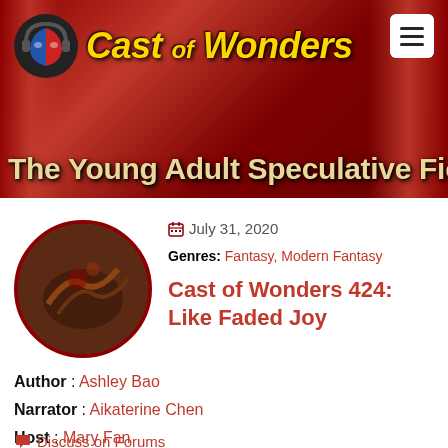[Figure (logo): Cast of Wonders podcast logo with theatrical mask wearing headphones and golden italic text 'Cast of Wonders']
The Young Adult Speculative Fiction Podc
July 31, 2020
Genres: Fantasy, Modern Fantasy
Cast of Wonders 424: Like Faded Joy
Author : Ashley Bao
Narrator : Aikaterine Chen
Host : Mary Fan
Audio Producer : Jeremy Carter
Artist : Alexis Goble
Discuss on Forums